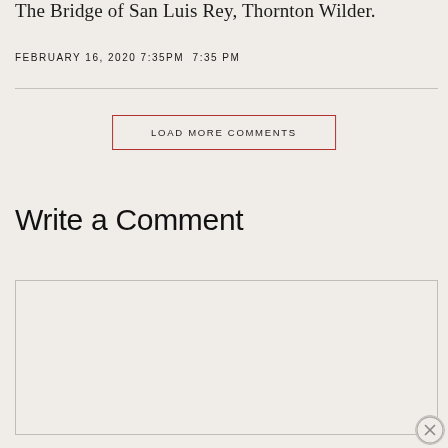The Bridge of San Luis Rey, Thornton Wilder.
FEBRUARY 16, 2020 7:35PM 7:35 PM
LOAD MORE COMMENTS
Write a Comment